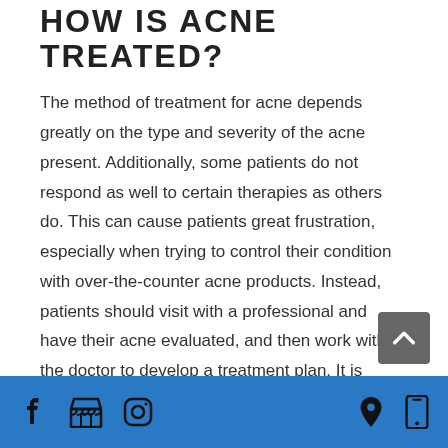HOW IS ACNE TREATED?
The method of treatment for acne depends greatly on the type and severity of the acne present. Additionally, some patients do not respond as well to certain therapies as others do. This can cause patients great frustration, especially when trying to control their condition with over-the-counter acne products. Instead, patients should visit with a professional and have their acne evaluated, and then work with the doctor to develop a treatment plan. It is essential that patients understand that the most effective acne treatment may require some time to pinpoint, and to be patient during the
Social media icons and contact icons